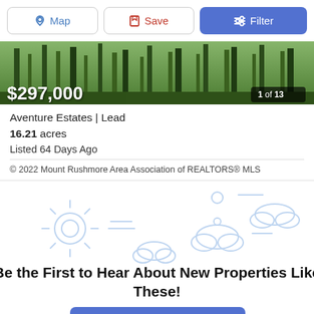[Figure (screenshot): Toolbar with Map, Save, and Filter buttons]
[Figure (photo): Forest/wooded land photo with price overlay $297,000 and image counter 1 of 13]
Aventure Estates | Lead
16.21 acres
Listed 64 Days Ago
© 2022 Mount Rushmore Area Association of REALTORS® MLS
Be the First to Hear About New Properties Like These!
[Figure (illustration): Decorative weather icons (sun, clouds) illustration background for notification section]
Notify Me